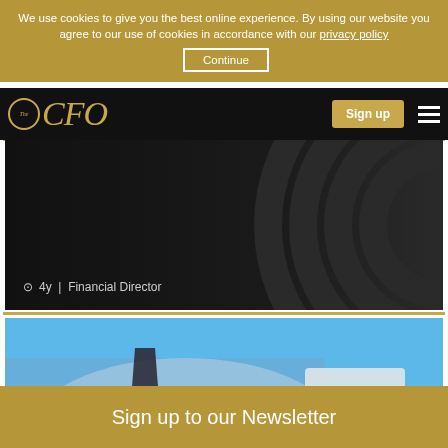We use cookies to give you the best online experience. By using our website you agree to our use of cookies in accordance with our privacy policy
Continue
[Figure (screenshot): The CFO logo and navigation bar with Sign up button and hamburger menu on dark background]
4y  |  Financial Director
[Figure (photo): Businessman in blue shirt and dark tie holding a black briefcase, against a blue sky background]
Sign up to our Newsletter